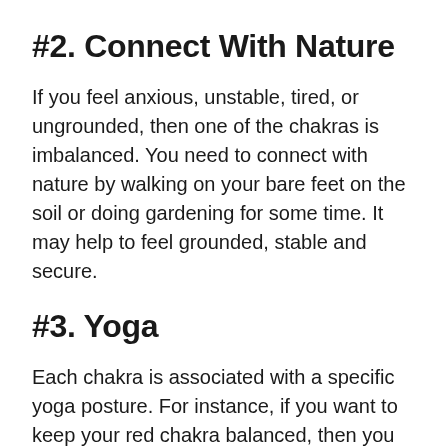#2. Connect With Nature
If you feel anxious, unstable, tired, or ungrounded, then one of the chakras is imbalanced. You need to connect with nature by walking on your bare feet on the soil or doing gardening for some time. It may help to feel grounded, stable and secure.
#3. Yoga
Each chakra is associated with a specific yoga posture. For instance, if you want to keep your red chakra balanced, then you can do tadasana to keep it aligned.